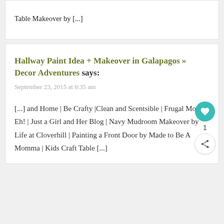Table Makeover by [...]
Hallway Paint Idea + Makeover in Galapagos » Decor Adventures says:
September 23, 2015 at 8:35 am
[...] and Home | Be Crafty |Clean and Scentsible | Frugal Mom Eh! | Just a Girl and Her Blog | Navy Mudroom Makeover by Life at Cloverhill | Painting a Front Door by Made to Be A Momma | Kids Craft Table [...]